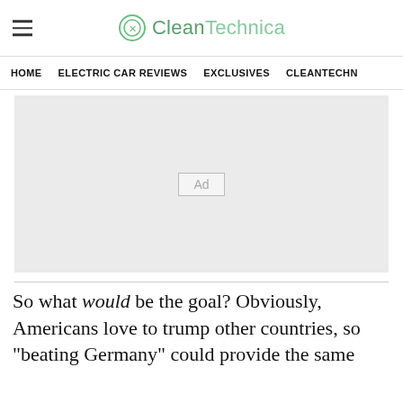CleanTechnica
HOME  ELECTRIC CAR REVIEWS  EXCLUSIVES  CLEANTECHN
[Figure (other): Advertisement placeholder block with 'Ad' label in center]
So what would be the goal? Obviously, Americans love to trump other countries, so "beating Germany" could provide the same